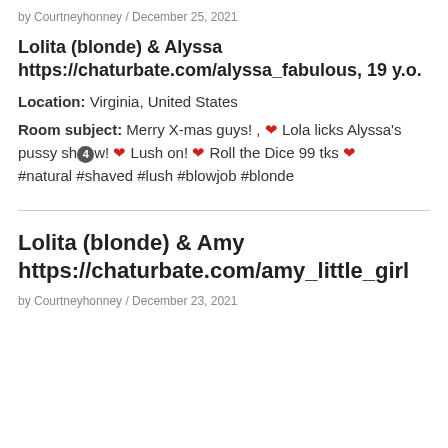by Courtneyhonney / December 25, 2021
Lolita (blonde) & Alyssa https://chaturbate.com/alyssa_fabulous, 19 y.o.
Location: Virginia, United States
Room subject: Merry X-mas guys! , ❤ Lola licks Alyssa's pussy sh❹w! ❤ Lush on! ❤ Roll the Dice 99 tks ❤ #natural #shaved #lush #blowjob #blonde
Lolita (blonde) & Amy https://chaturbate.com/amy_little_girl
by Courtneyhonney / December 23, 2021